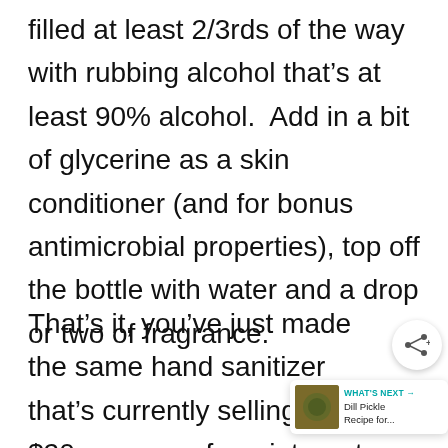filled at least 2/3rds of the way with rubbing alcohol that's at least 90% alcohol.  Add in a bit of glycerine as a skin conditioner (and for bonus antimicrobial properties), top off the bottle with water and a drop or two of fragrance.
That's it, you've just made the same hand sanitizer that's currently selling for $20 an ounce from internet profiteers.
[Figure (other): Share button (social share icon with plus sign) and 'What's Next' widget showing a Dill Pickle Recipe thumbnail]